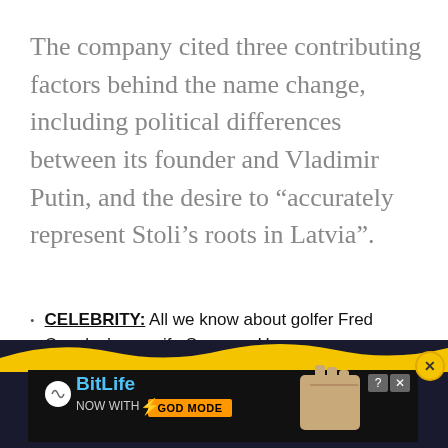The company cited three contributing factors behind the name change, including political differences between its founder and Vladimir Putin, and the desire to “accurately represent Stoli’s roots in Latvia”.
CELEBRITY: All we know about golfer Fred Couples’ new wife Suzanne Hannemann
[Figure (screenshot): Advertisement banner for BitLife game app showing 'NOW WITH GOD MODE' with a hand graphic, close button (X), and help button (?). Dark background with yellow wave at the top.]